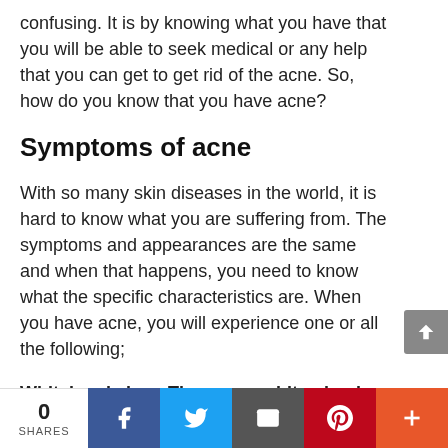confusing. It is by knowing what you have that you will be able to seek medical or any help that you can get to get rid of the acne. So, how do you know that you have acne?
Symptoms of acne
With so many skin diseases in the world, it is hard to know what you are suffering from. The symptoms and appearances are the same and when that happens, you need to know what the specific characteristics are. When you have acne, you will experience one or all the following;
Whitehead clogs They are a white pimple like
0 SHARES | Facebook | Twitter | Email | Pinterest | More